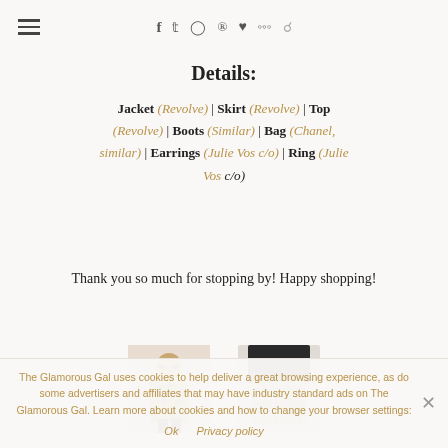≡ f  t  ⊙  ℗  ♥  )))  🔍
Details:
Jacket (Revolve) | Skirt (Revolve) | Top (Revolve) | Boots (Similar) | Bag (Chanel, similar) | Earrings (Julie Vos c/o) | Ring (Julie Vos c/o)
Thank you so much for stopping by! Happy shopping!
[Figure (photo): Two small product thumbnail images side by side - left shows a woman in a leopard print jacket, right shows a gray/silver quilted skirt with black leather sleeves]
The Glamorous Gal uses cookies to help deliver a great browsing experience, as do some advertisers and affiliates that may have industry standard ads on The Glamorous Gal. Learn more about cookies and how to change your browser settings: Ok  Privacy policy